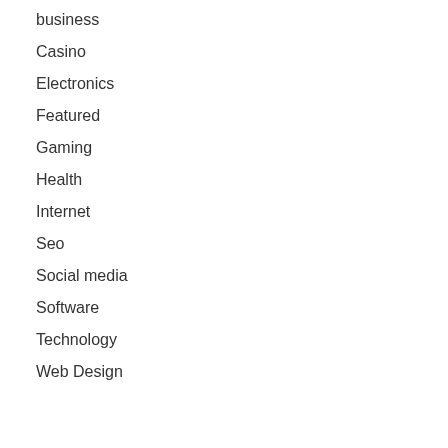business
Casino
Electronics
Featured
Gaming
Health
Internet
Seo
Social media
Software
Technology
Web Design